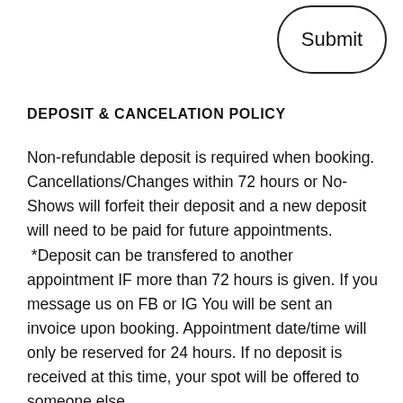[Figure (other): Rounded rectangle button labeled 'Submit' in the top-right corner]
DEPOSIT & CANCELATION POLICY
Non-refundable deposit is required when booking. Cancellations/Changes within 72 hours or No-Shows will forfeit their deposit and a new deposit will need to be paid for future appointments. *Deposit can be transfered to another appointment IF more than 72 hours is given. If you message us on FB or IG You will be sent an invoice upon booking. Appointment date/time will only be reserved for 24 hours. If no deposit is received at this time, your spot will be offered to someone else.